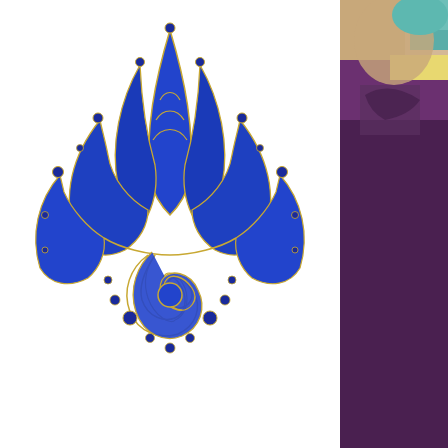[Figure (logo): Blue and gold lotus flower logo/jewel design on white background]
[Figure (photo): Partial photo of person with teal/green nail polish and tattoo visible, wearing purple top]
G• Rajuli, Rose
In October, Lee was invited to reprise his Mont Other entertaining projects this month include Newman's exemplary 'Anno Dracula' in the onli everywhere) Unshelved. (We had found Kim's ' and found it, though completely different from Club' books Lee has illustrated, to be quite asto complex and surprisingly meta narrative. Venet